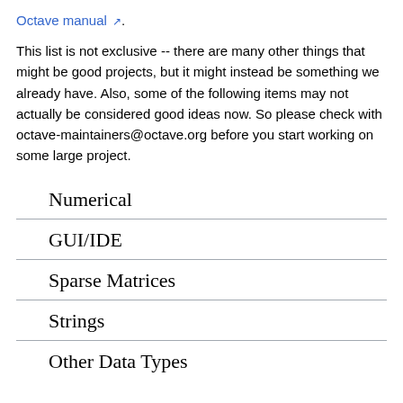Octave manual ↗.
This list is not exclusive -- there are many other things that might be good projects, but it might instead be something we already have. Also, some of the following items may not actually be considered good ideas now. So please check with octave-maintainers@octave.org before you start working on some large project.
Numerical
GUI/IDE
Sparse Matrices
Strings
Other Data Types